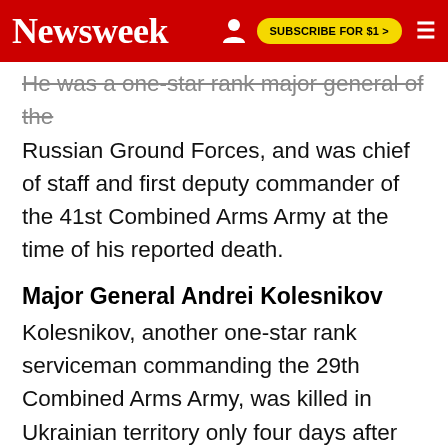Newsweek | SUBSCRIBE FOR $1 >
He was a one-star rank major general of the Russian Ground Forces, and was chief of staff and first deputy commander of the 41st Combined Arms Army at the time of his reported death.
Major General Andrei Kolesnikov
Kolesnikov, another one-star rank serviceman commanding the 29th Combined Arms Army, was killed in Ukrainian territory only four days after Gersimov's death, on March 11, Ukraine's military and media reported.